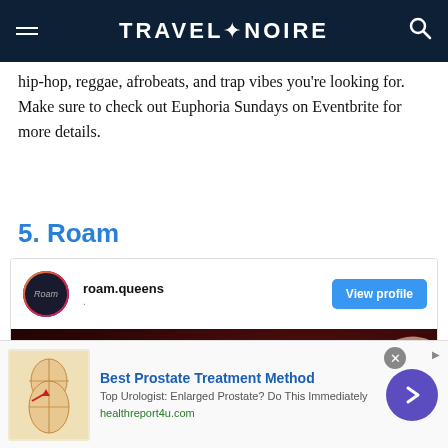TRAVEL+NOIRE
hip-hop, reggae, afrobeats, and trap vibes you're looking for. Make sure to check out Euphoria Sundays on Eventbrite for more details.
5. Roam
[Figure (screenshot): Instagram profile embed card for roam.queens with View profile button and dark photo of coffee cup]
[Figure (other): Advertisement: Best Prostate Treatment Method - Top Urologist: Enlarged Prostate? Do This Immediately - healthreport4u.com]